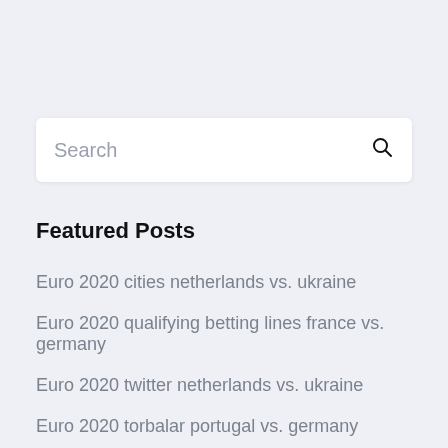Search
Featured Posts
Euro 2020 cities netherlands vs. ukraine
Euro 2020 qualifying betting lines france vs. germany
Euro 2020 twitter netherlands vs. ukraine
Euro 2020 torbalar portugal vs. germany
Budapest stadium euro 2020 finland vs. russia